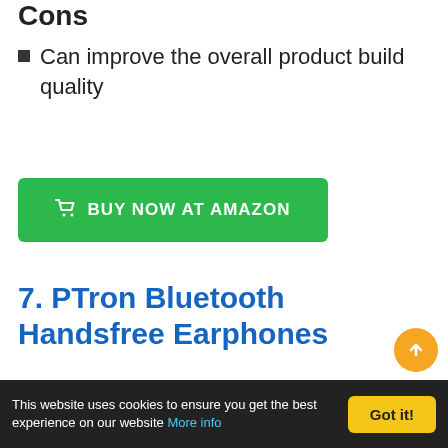Cons
Can improve the overall product build quality
[Figure (other): Green 'BUY NOW AT AMAZON' button with shopping cart icon]
7. PTron Bluetooth Handsfree Earphones
This website uses cookies to ensure you get the best experience on our website More info  Got it!